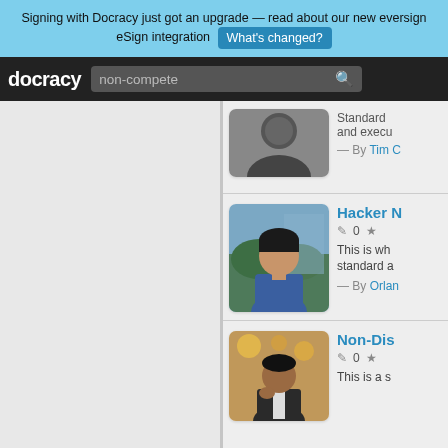Signing with Docracy just got an upgrade — read about our new eversign eSign integration  What's changed?
docracy  [search: non-compete]
[Figure (photo): Circular cropped headshot of a person in dark clothing against a neutral background]
Standard and execu
— By Tim C
Hacker N
[Figure (photo): Photo of a young man in a blue shirt standing outdoors with green foliage in background]
✏ 0  ★
This is wh standard a
— By Orlan
Non-Dis
[Figure (photo): Photo of a man in a suit in a warmly lit interior space]
✏ 0  ★
This is a s